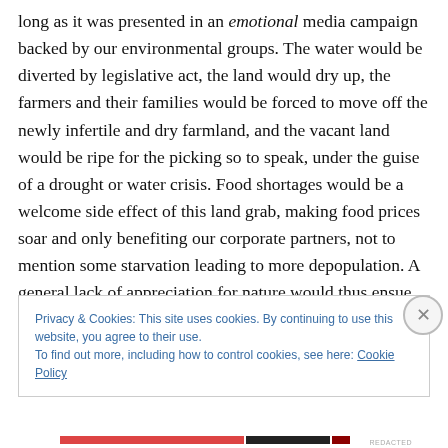long as it was presented in an emotional media campaign backed by our environmental groups. The water would be diverted by legislative act, the land would dry up, the farmers and their families would be forced to move off the newly infertile and dry farmland, and the vacant land would be ripe for the picking so to speak, under the guise of a drought or water crisis. Food shortages would be a welcome side effect of this land grab, making food prices soar and only benefiting our corporate partners, not to mention some starvation leading to more depopulation. A general lack of appreciation for nature would thus ensue,
Privacy & Cookies: This site uses cookies. By continuing to use this website, you agree to their use.
To find out more, including how to control cookies, see here: Cookie Policy
Close and accept